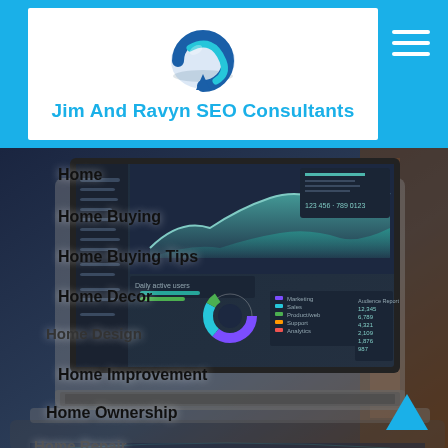[Figure (logo): Jim And Ravyn SEO Consultants logo with circular arrow icon in blue and teal]
Jim And Ravyn SEO Consultants
[Figure (photo): Background photo of an open laptop displaying analytics dashboard with charts, on a reflective surface, with blurred background]
Home
Home Buying
Home Buying Tips
Home Decor
Home Design
Home Improvement
Home Ownership
Home Repair
Identity Theft
Insurance